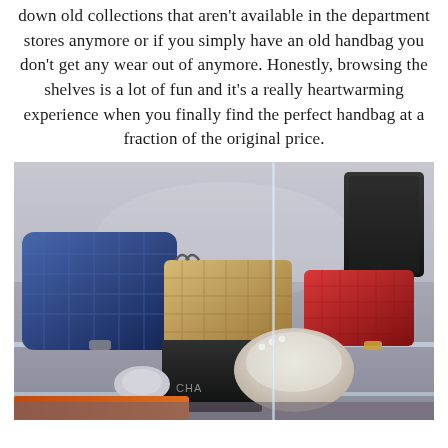down old collections that aren't available in the department stores anymore or if you simply have an old handbag you don't get any wear out of anymore. Honestly, browsing the shelves is a lot of fun and it's a really heartwarming experience when you finally find the perfect handbag at a fraction of the original price.
[Figure (photo): A glass display case in a resale shop showing multiple luxury quilted handbags including a large navy blue Chanel flap bag, a beige/gold bag, a red quilted bag, a white fluffy bag, a black Chanel box, and other accessories arranged on glass shelves.]